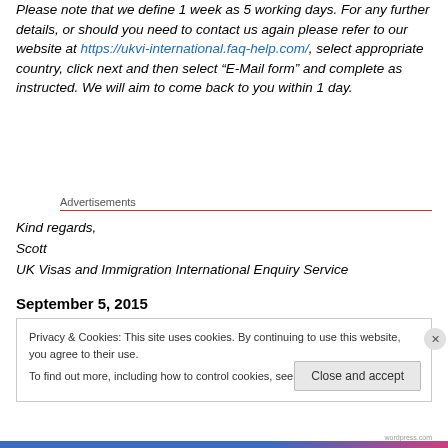Please note that we define 1 week as 5 working days. For any further details, or should you need to contact us again please refer to our website at https://ukvi-international.faq-help.com/, select appropriate country, click next and then select “E-Mail form” and complete as instructed. We will aim to come back to you within 1 day.
Advertisements
Kind regards,
Scott
UK Visas and Immigration International Enquiry Service
September 5, 2015
Privacy & Cookies: This site uses cookies. By continuing to use this website, you agree to their use.
To find out more, including how to control cookies, see here: Cookie Policy
Close and accept